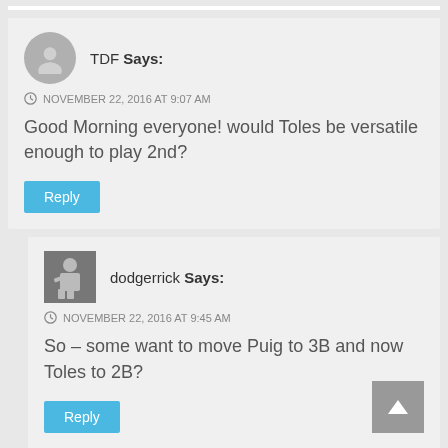TDF Says:
NOVEMBER 22, 2016 AT 9:07 AM
Good Morning everyone! would Toles be versatile enough to play 2nd?
Reply
dodgerrick Says:
NOVEMBER 22, 2016 AT 9:45 AM
So – some want to move Puig to 3B and now Toles to 2B?
Reply